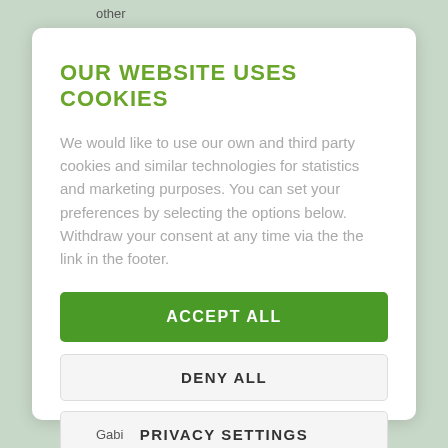other
OUR WEBSITE USES COOKIES
We would like to use our own and third party cookies and similar technologies for statistics and marketing purposes. You can set your preferences by selecting the options below. Withdraw your consent at any time via the the link in the footer.
ACCEPT ALL
DENY ALL
PRIVACY SETTINGS
Privacy policy · Imprint
Gabi